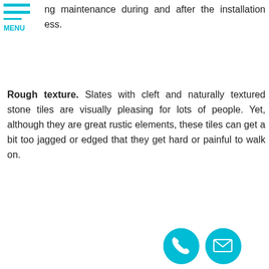[Figure (other): Navigation menu hamburger icon with two cyan horizontal bars and MENU label in cyan]
ng maintenance during and after the installation ess.
Rough texture. Slates with cleft and naturally textured stone tiles are visually pleasing for lots of people. Yet, although they are great rustic elements, these tiles can get a bit too jagged or edged that they get hard or painful to walk on.
Coldness. Without any radiant below-surface heating systems, natural stone tiles are among the coldest flooring materials in the market. Their ability to transmit heat means they lose warmth quickly too. When this happens, surfaces of stone tiles become chilly or even icy, especially during winter.
Inconsistency. Natural stone tiles hold uniqueness of color, pattern, size, and shape in every single piece. There is always some kind of difference between the tiles, even with Grade A materials that tend to be consistent. Because of these variations, maintaining controlling